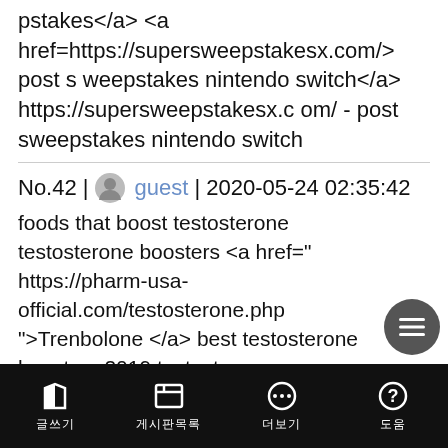pstakes</a> <a href=https://supersweepstakesx.com/> post sweepstakes nintendo switch</a> https://supersweepstakesx.com/ - post sweepstakes nintendo switch
No.42 | guest | 2020-05-24 02:35:42
foods that boost testosterone testosterone boosters <a href=" https://pharm-usa-official.com/testosterone.php ">Trenbolone </a> best testosterone boosters 2019 testosterone cypionate testosterone definition testosterone meaning <a href=https://pharm-usa-official.com/testosterone.php> testosterone replacement therapy</a> testosteron prime male testosterone booster https://pharm-usa-official.com/testosterone.php - Oxan
No.41 | guest | 2020-05-24 01:46:41
levitra 10 mg levitra generic <a href=" https://drugstoreonliner.com/#">buy levitra online </a> levitra generic buy levitra onlin